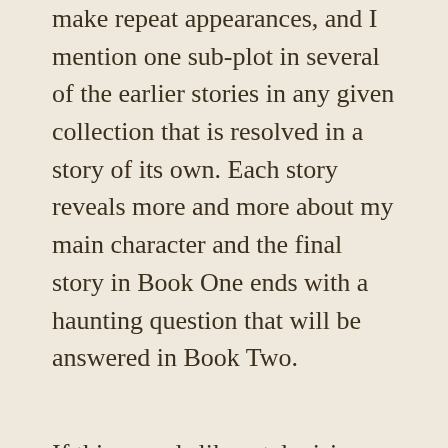make repeat appearances, and I mention one sub-plot in several of the earlier stories in any given collection that is resolved in a story of its own. Each story reveals more and more about my main character and the final story in Book One ends with a haunting question that will be answered in Book Two.
If this sounds like a television series, you betcha. I called it a “series” earlier in this blog and that is exactly how I visualize The Johnny Casino Casebook, whether it stays in book form or hits the TV screen. His stories might be in the “short story” format, but his entire life is a novel